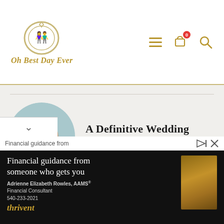[Figure (logo): Oh Best Day Ever logo with wedding rings illustration and italic gold text]
A Definitive Wedding Ring Shopping Guide
8 Tips When Picking Your Wedding Flowers
[Figure (photo): Circular thumbnail of hands with wedding ring]
[Figure (photo): Circular thumbnail of pink roses bouquet]
[Figure (photo): Advertisement banner for Thrivent Financial with Adrienne Elizabeth Rowles, AAMS, Financial Consultant, phone 540-233-2021]